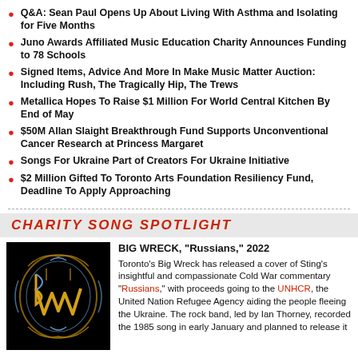Q&A: Sean Paul Opens Up About Living With Asthma and Isolating for Five Months
Juno Awards Affiliated Music Education Charity Announces Funding to 78 Schools
Signed Items, Advice And More In Make Music Matter Auction: Including Rush, The Tragically Hip, The Trews
Metallica Hopes To Raise $1 Million For World Central Kitchen By End of May
$50M Allan Slaight Breakthrough Fund Supports Unconventional Cancer Research at Princess Margaret
Songs For Ukraine Part of Creators For Ukraine Initiative
$2 Million Gifted To Toronto Arts Foundation Resiliency Fund, Deadline To Apply Approaching
CHARITY SONG SPOTLIGHT
[Figure (illustration): Big Wreck band logo on black background - ornate gold and blue stylized letter design]
BIG WRECK, "Russians," 2022
Toronto's Big Wreck has released a cover of Sting's insightful and compassionate Cold War commentary "Russians," with proceeds going to the UNHCR, the United Nation Refugee Agency aiding the people fleeing the Ukraine. The rock band, led by Ian Thorney, recorded the 1985 song in early January and planned to release it